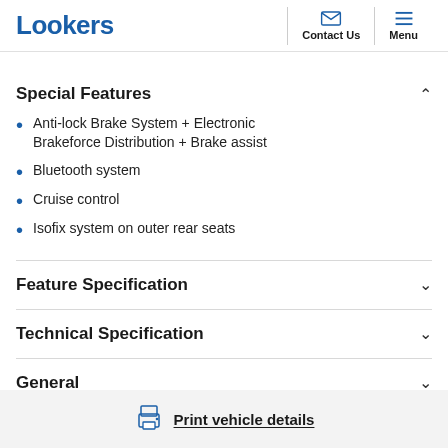Lookers | Contact Us | Menu
Special Features
Anti-lock Brake System + Electronic Brakeforce Distribution + Brake assist
Bluetooth system
Cruise control
Isofix system on outer rear seats
Feature Specification
Technical Specification
General
Print vehicle details